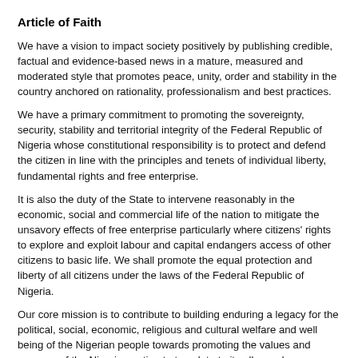Article of Faith
We have a vision to impact society positively by publishing credible, factual and evidence-based news in a mature, measured and moderated style that promotes peace, unity, order and stability in the country anchored on rationality, professionalism and best practices.
We have a primary commitment to promoting the sovereignty, security, stability and territorial integrity of the Federal Republic of Nigeria whose constitutional responsibility is to protect and defend the citizen in line with the principles and tenets of individual liberty, fundamental rights and free enterprise.
It is also the duty of the State to intervene reasonably in the economic, social and commercial life of the nation to mitigate the unsavory effects of free enterprise particularly where citizens' rights to explore and exploit labour and capital endangers access of other citizens to basic life. We shall promote the equal protection and liberty of all citizens under the laws of the Federal Republic of Nigeria.
Our core mission is to contribute to building enduring a legacy for the political, social, economic, religious and cultural welfare and well being of the Nigerian people towards promoting the values and essence of the Nigerian nation to translate to its all-round development.
As an independent and commercial privately-owned newspaper, we owe no allegiance to any political party, ethnic nationality or interest group except our unalloyed support to and unapologetic bias for a pan-Nigerian philosophy which reinforces our conviction in the unity,